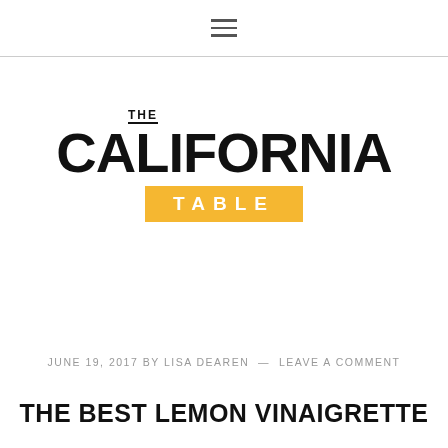☰
[Figure (logo): The California Table logo — 'THE' in small caps above 'CALIFORNIA' in large bold black letters, with 'TABLE' in white on a yellow/gold rectangle below]
JUNE 19, 2017 BY LISA DEAREN — LEAVE A COMMENT
THE BEST LEMON VINAIGRETTE